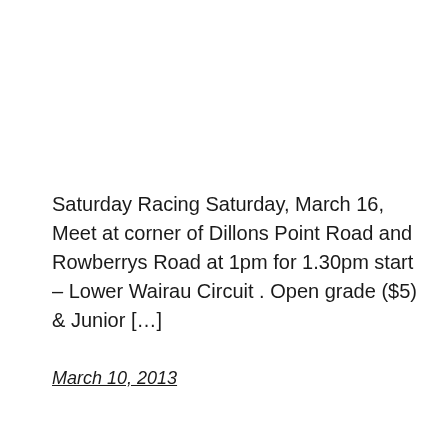Saturday Racing Saturday, March 16, Meet at corner of Dillons Point Road and Rowberrys Road at 1pm for 1.30pm start – Lower Wairau Circuit . Open grade ($5) & Junior […]
March 10, 2013